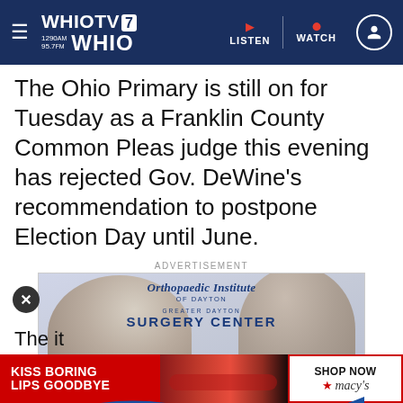WHIO TV 7 / 1290am 95.7fm WHIO — LISTEN | WATCH
The Ohio Primary is still on for Tuesday as a Franklin County Common Pleas judge this evening has rejected Gov. DeWine's recommendation to postpone Election Day until June.
ADVERTISEMENT
[Figure (photo): Advertisement for Orthopaedic Institute of Dayton / Greater Dayton Surgery Center showing two women (one older, one younger) facing each other, with blue wave overlay and text 'Surgery is a difficult decision.']
[Figure (photo): Macy's advertisement banner: 'KISS BORING LIPS GOODBYE' with red lipstick image and 'SHOP NOW' button with Macy's star logo]
The it